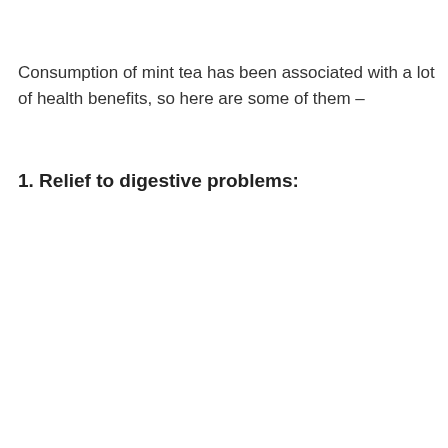Consumption of mint tea has been associated with a lot of health benefits, so here are some of them –
1. Relief to digestive problems: